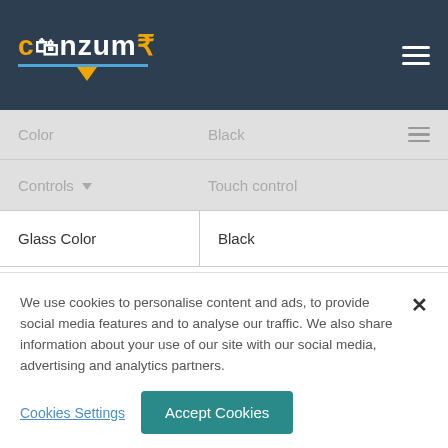[Figure (logo): Conzumr logo with shopping bag icon and rupee symbol, white text on dark background]
| Property | Value |
| --- | --- |
| Color | Black |
| Controls | Touch control |
| Glass Color | Black |
Air Suction Features
| Feature | Value |
| --- | --- |
| Air Suction Capacity | 1180 m3/h |
| Air Outlet Tube Diameter | 150 mm |
We use cookies to personalise content and ads, to provide social media features and to analyse our traffic. We also share information about your use of our site with our social media, advertising and analytics partners.
Cookies Settings
Accept Cookies